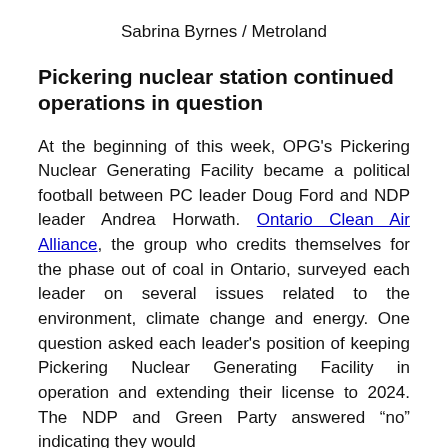Sabrina Byrnes / Metroland
Pickering nuclear station continued operations in question
At the beginning of this week, OPG's Pickering Nuclear Generating Facility became a political football between PC leader Doug Ford and NDP leader Andrea Horwath. Ontario Clean Air Alliance, the group who credits themselves for the phase out of coal in Ontario, surveyed each leader on several issues related to the environment, climate change and energy. One question asked each leader's position of keeping Pickering Nuclear Generating Facility in operation and extending their license to 2024. The NDP and Green Party answered “no” indicating they would